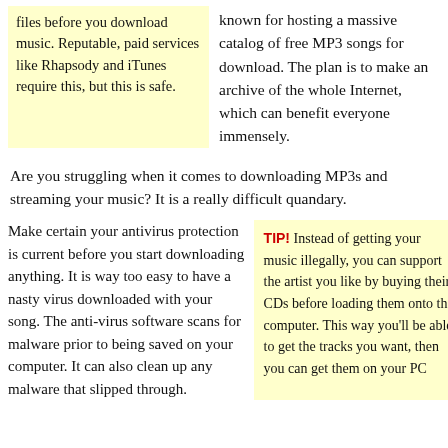files before you download music. Reputable, paid services like Rhapsody and iTunes require this, but this is safe.
known for hosting a massive catalog of free MP3 songs for download. The plan is to make an archive of the whole Internet, which can benefit everyone immensely.
Are you struggling when it comes to downloading MP3s and streaming your music? It is a really difficult quandary.
Make certain your antivirus protection is current before you start downloading anything. It is way too easy to have a nasty virus downloaded with your song. The anti-virus software scans for malware prior to being saved on your computer. It can also clean up any malware that slipped through.
TIP! Instead of getting your music illegally, you can support the artist you like by buying their CDs before loading them onto the computer. This way you'll be able to get the tracks you want, then you can get them on your PC